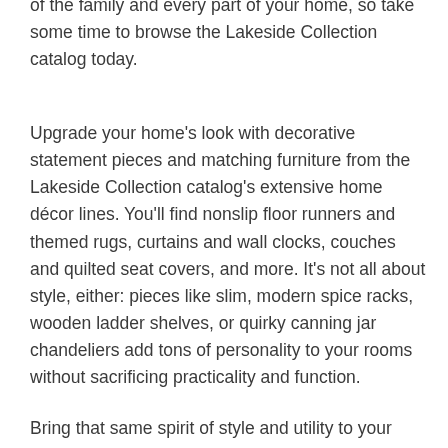of the family and every part of your home, so take some time to browse the Lakeside Collection catalog today.
Upgrade your home's look with decorative statement pieces and matching furniture from the Lakeside Collection catalog's extensive home décor lines. You'll find nonslip floor runners and themed rugs, curtains and wall clocks, couches and quilted seat covers, and more. It's not all about style, either: pieces like slim, modern spice racks, wooden ladder shelves, or quirky canning jar chandeliers add tons of personality to your rooms without sacrificing practicality and function.
Bring that same spirit of style and utility to your